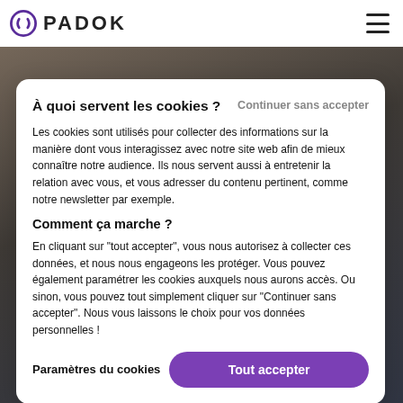PADOK
À quoi servent les cookies ?
Continuer sans accepter
Les cookies sont utilisés pour collecter des informations sur la manière dont vous interagissez avec notre site web afin de mieux connaître notre audience. Ils nous servent aussi à entretenir la relation avec vous, et vous adresser du contenu pertinent, comme notre newsletter par exemple.
Comment ça marche ?
En cliquant sur "tout accepter", vous nous autorisez à collecter ces données, et nous nous engageons les protéger. Vous pouvez également paramétrer les cookies auxquels nous aurons accès. Ou sinon, vous pouvez tout simplement cliquer sur "Continuer sans accepter". Nous vous laissons le choix pour vos données personnelles !
Paramètres du cookies
Tout accepter